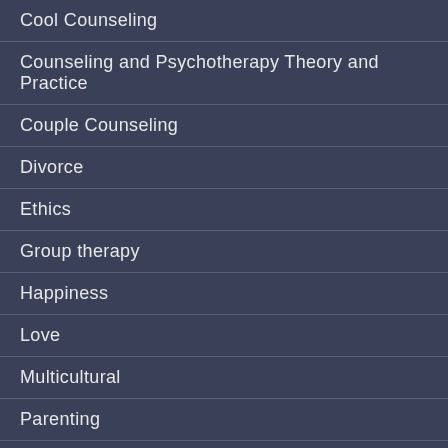Cool Counseling
Counseling and Psychotherapy Theory and Practice
Couple Counseling
Divorce
Ethics
Group therapy
Happiness
Love
Multicultural
Parenting
Personal Reflections
Politics
Research